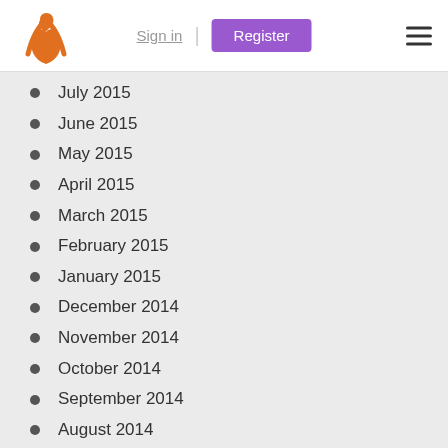Sign in | Register
July 2015
June 2015
May 2015
April 2015
March 2015
February 2015
January 2015
December 2014
November 2014
October 2014
September 2014
August 2014
July 2014
June 2014
May 2014
April 2014
March 2014
February 2014
January 2014
December 2013
November 2013